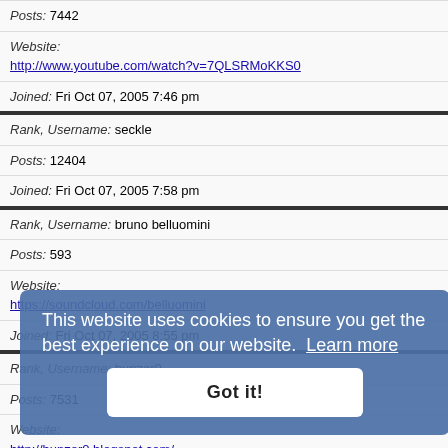Posts: 7442
Website: http://www.youtube.com/watch?v=7QLSRMoKKS0
Joined: Fri Oct 07, 2005 7:46 pm
Rank, Username: seckle
Posts: 12404
Joined: Fri Oct 07, 2005 7:58 pm
Rank, Username: bruno belluomini
Posts: 593
Website: https://soundcloud.com/belluomini
Joined: Fri Oct 07, 2005 8:55 pm
Rank, Username: bunzer0
Posts: 7531
Website: http://bunzer0.blogspot.com/
Joined: ...
Rank, Username: kodama
Posts: 53
Website: http://kodama.angrypixel.org
This website uses cookies to ensure you get the best experience on our website. Learn more. Got it!